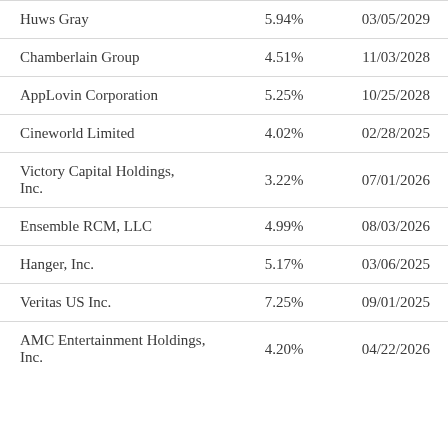| Huws Gray | 5.94% | 03/05/2029 |
| Chamberlain Group | 4.51% | 11/03/2028 |
| AppLovin Corporation | 5.25% | 10/25/2028 |
| Cineworld Limited | 4.02% | 02/28/2025 |
| Victory Capital Holdings, Inc. | 3.22% | 07/01/2026 |
| Ensemble RCM, LLC | 4.99% | 08/03/2026 |
| Hanger, Inc. | 5.17% | 03/06/2025 |
| Veritas US Inc. | 7.25% | 09/01/2025 |
| AMC Entertainment Holdings, Inc. | 4.20% | 04/22/2026 |